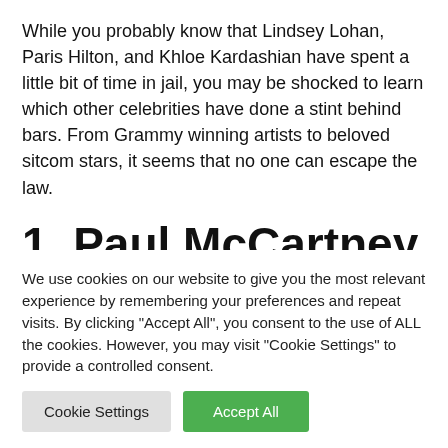While you probably know that Lindsey Lohan, Paris Hilton, and Khloe Kardashian have spent a little bit of time in jail, you may be shocked to learn which other celebrities have done a stint behind bars. From Grammy winning artists to beloved sitcom stars, it seems that no one can escape the law.
1. Paul McCartney
We use cookies on our website to give you the most relevant experience by remembering your preferences and repeat visits. By clicking "Accept All", you consent to the use of ALL the cookies. However, you may visit "Cookie Settings" to provide a controlled consent.